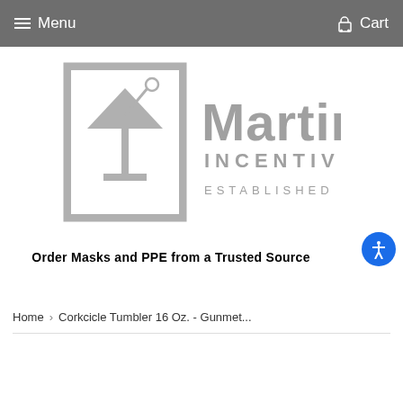Menu  Cart
[Figure (logo): Martini Incentives logo - grey martini glass in a square frame with text Martini INCENTIVES ESTABLISHED 2004]
Order Masks and PPE from a Trusted Source
Home › Corkcicle Tumbler 16 Oz. - Gunmet...